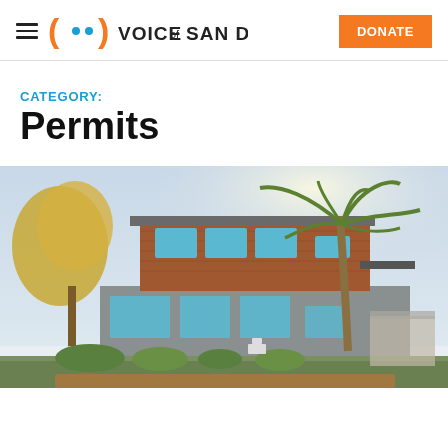Voice of San Diego — DONATE
CATEGORY: Permits
[Figure (photo): Modern two-story residential home with brick and concrete facade, palm tree on the right side, leafy trees on the left, in a sunny San Diego neighborhood.]